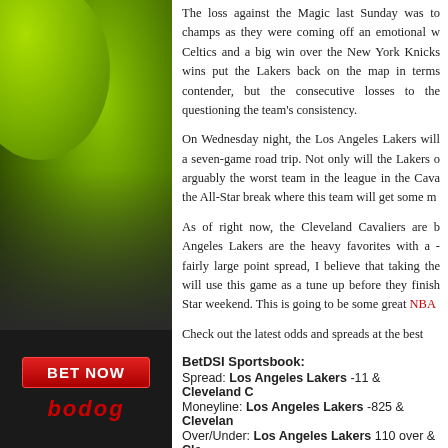[Figure (photo): Dark background with green tennis ball in upper portion, Bet Now red button and bodog logo below]
The loss against the Magic last Sunday was to champs as they were coming off an emotional w Celtics and a big win over the New York Knicks wins put the Lakers back on the map in terms contender, but the consecutive losses to the questioning the team's consistency.
On Wednesday night, the Los Angeles Lakers will a seven-game road trip. Not only will the Lakers o arguably the worst team in the league in the Cava the All-Star break where this team will get some m
As of right now, the Cleveland Cavaliers are b Angeles Lakers are the heavy favorites with a - fairly large point spread, I believe that taking the will use this game as a tune up before they finish Star weekend. This is going to be some great NBA
Check out the latest odds and spreads at the best
BetDSI Sportsbook:
Spread: Los Angeles Lakers -11 & Cleveland C
Moneyline: Los Angeles Lakers -825 & Clevelan
Over/Under: Los Angeles Lakers 110 over & Cle
Bookmaker Sportsbook:
Spread: Los Angeles Lakers -11 & Cleveland C